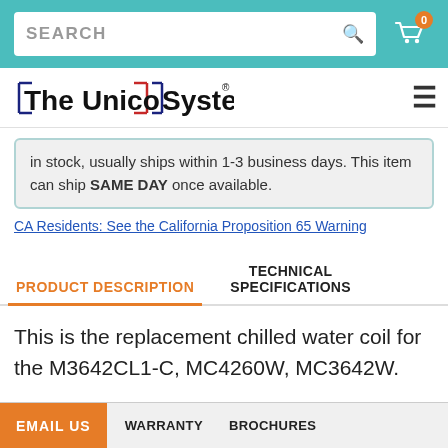SEARCH
[Figure (logo): The Unico System logo with blue and red decorative borders]
in stock, usually ships within 1-3 business days. This item can ship SAME DAY once available.
CA Residents: See the California Proposition 65 Warning
PRODUCT DESCRIPTION
TECHNICAL SPECIFICATIONS
This is the replacement chilled water coil for the M3642CL1-C, MC4260W, MC3642W.
EMAIL US | WARRANTY | BROCHURES